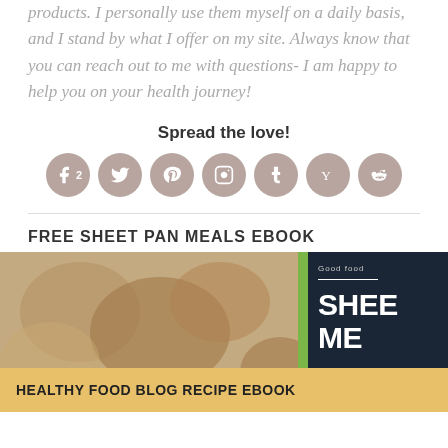products. I personally use them myself on a daily basis, and I stand by what I offer on my site. Always know that you can reach out to me with questions- I am happy to help you on your health journey!
Spread the love!
[Figure (infographic): Seven social media sharing icons in pink-brown circles: Facebook (with number 2), Twitter, Pinterest, Instagram, Tumblr, Yummly, Reddit]
FREE SHEET PAN MEALS EBOOK
[Figure (photo): Promotional image for a healthy food blog recipe ebook and sheet pan meals ebook. Shows food background on left with golden banner reading 'HEALTHY FOOD BLOG RECIPE EBOOK', a green spine, and a dark navy book cover on right showing 'Good food' and 'SHEE ME' (Sheet Pan Meals) text.]